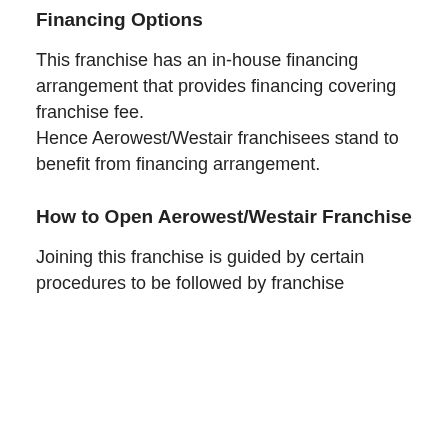Financing Options
This franchise has an in-house financing arrangement that provides financing covering franchise fee. Hence Aerowest/Westair franchisees stand to benefit from financing arrangement.
How to Open Aerowest/Westair Franchise
Joining this franchise is guided by certain procedures to be followed by franchise